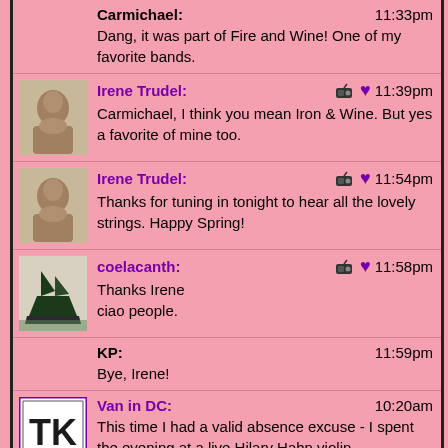Carmichael: 11:33pm
Dang, it was part of Fire and Wine! One of my favorite bands.
Irene Trudel: 11:39pm
Carmichael, I think you mean Iron & Wine. But yes a favorite of mine too.
Irene Trudel: 11:54pm
Thanks for tuning in tonight to hear all the lovely strings. Happy Spring!
coelacanth: 11:58pm
Thanks Irene
ciao people.
KP: 11:59pm
Bye, Irene!
Van in DC: 10:20am
This time I had a valid absence excuse - I spent the evening at a live Hilary Hahn violin performance at the exquisitely gorgeous Strathmore music center in Bethesda, MD. She was, as always, truly amazing. One of the arguably top 3 to 5 virtuoso violinists on the planet.